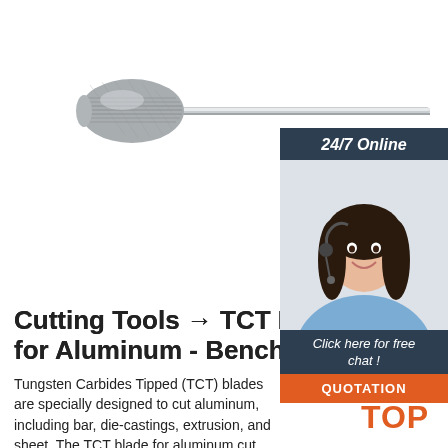[Figure (photo): A tungsten carbide rotary burr/cutting tool bit — oval/egg-shaped carbide head with crosscut teeth, attached to a long metal shank, photographed on white background]
[Figure (other): Customer service chat widget showing a smiling woman with headset, dark navy background, '24/7 Online' header, 'Click here for free chat!' text, and orange QUOTATION button]
Cutting Tools → TCT Blades for Aluminum - Benchmark
Tungsten Carbides Tipped (TCT) blades are specially designed to cut aluminum, including bar, die-castings, extrusion, and sheet. The TCT blade for aluminum cut longer than abrasive blades. These Cutting
[Figure (logo): Orange and white TOP logo — arch of dots above letters TOP in orange]